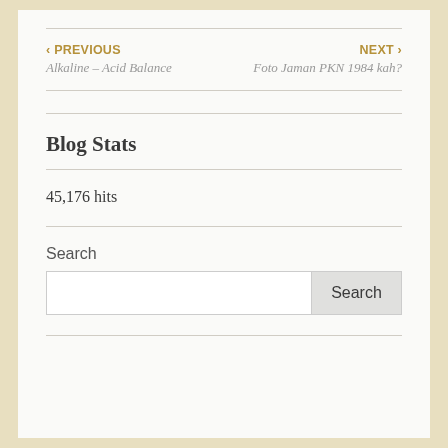‹ PREVIOUS
Alkaline – Acid Balance
NEXT ›
Foto Jaman PKN 1984 kah?
Blog Stats
45,176 hits
Search